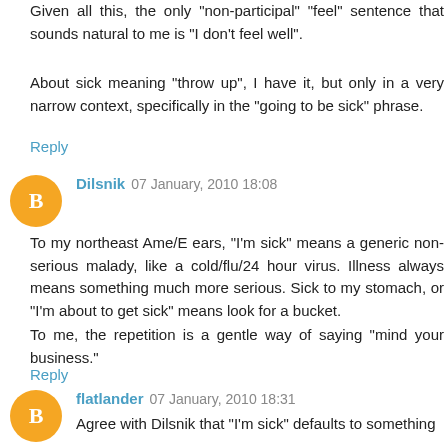Given all this, the only "non-participal" "feel" sentence that sounds natural to me is "I don't feel well".
About sick meaning "throw up", I have it, but only in a very narrow context, specifically in the "going to be sick" phrase.
Reply
Dilsnik 07 January, 2010 18:08
To my northeast Ame/E ears, "I'm sick" means a generic non-serious malady, like a cold/flu/24 hour virus. Illness always means something much more serious. Sick to my stomach, or "I'm about to get sick" means look for a bucket.
To me, the repetition is a gentle way of saying "mind your business."
Reply
flatlander 07 January, 2010 18:31
Agree with Dilsnik that "I'm sick" defaults to something